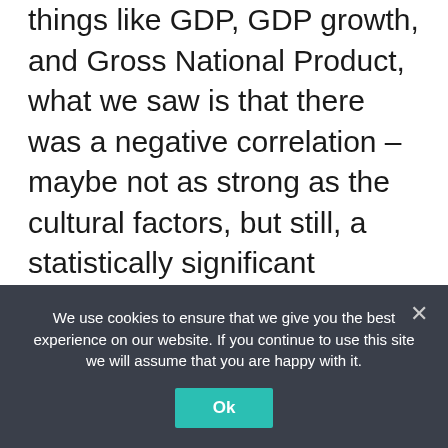things like GDP, GDP growth, and Gross National Product, what we saw is that there was a negative correlation – maybe not as strong as the cultural factors, but still, a statistically significant negative correlation with mental wellbeing.
The question is really: How does the economic system drive culture? And how does culture end up influencing how people feel?
Biancolli: That really popped out
We use cookies to ensure that we give you the best experience on our website. If you continue to use this site we will assume that you are happy with it.